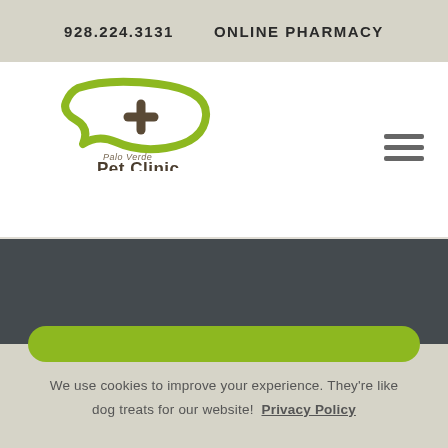928.224.3131   ONLINE PHARMACY
[Figure (logo): Palo Verde Pet Clinic logo with a green speech bubble containing a plus sign, with text 'Palo Verde Pet Clinic' below]
[Figure (other): Hamburger menu icon (three horizontal lines) in the top right of the navigation bar]
[Figure (other): Dark grey banner section with a green rounded pill-shaped bar at the bottom]
We use cookies to improve your experience. They're like dog treats for our website! Privacy Policy
GOT IT!